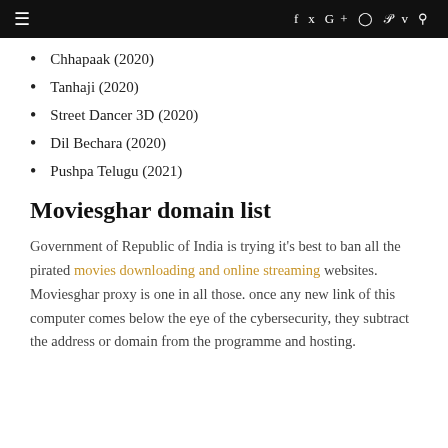≡   f  t  G+  ⊙  P  v  🔍
Chhapaak (2020)
Tanhaji (2020)
Street Dancer 3D (2020)
Dil Bechara (2020)
Pushpa Telugu (2021)
Moviesghar domain list
Government of Republic of India is trying it's best to ban all the pirated movies downloading and online streaming websites. Moviesghar proxy is one in all those. once any new link of this computer comes below the eye of the cybersecurity, they subtract the address or domain from the programme and hosting.